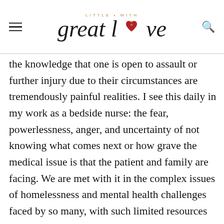LITTLE · WITH great love
the knowledge that one is open to assault or further injury due to their circumstances are tremendously painful realities. I see this daily in my work as a bedside nurse: the fear, powerlessness, anger, and uncertainty of not knowing what comes next or how grave the medical issue is that the patient and family are facing. We are met with it in the complex issues of homelessness and mental health challenges faced by so many, with such limited resources available. We are angered and shamed by it.